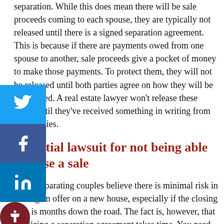separation. While this does mean there will be sale proceeds coming to each spouse, they are typically not released until there is a signed separation agreement. This is because if there are payments owed from one spouse to another, sale proceeds give a pocket of money to make those payments. To protect them, they will not be released until both parties agree on how they will be distributed. A real estate lawyer won't release these funds until they've received something in writing from both parties.
Potential lawsuit for not being able to close a sale
Many separating couples believe there is minimal risk in putting an offer on a new house, especially if the closing date is months down the road. The fact is, however, that finalizing a separation agreement takes time. You need to discuss parenting terms. Financial disclosure like income, assets, and debts, must be disclosed. Property needs to be divided.